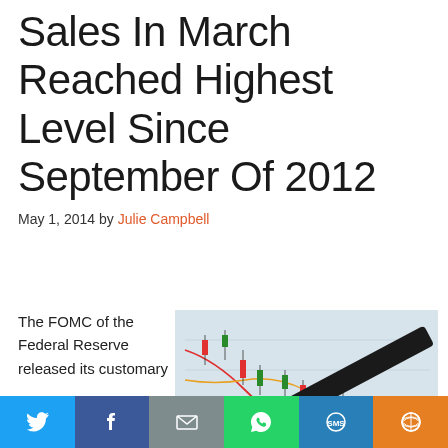Sales In March Reached Highest Level Since September Of 2012
May 1, 2014 by Julie Campbell
The FOMC of the Federal Reserve released its customary
[Figure (photo): A hand holding a pen pointing at a financial stock chart on a screen, showing candlestick price data with colored trend lines]
Social share bar: Twitter, Facebook, Email, WhatsApp, SMS, More